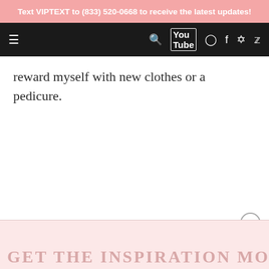Text VIPTEXT to (833) 520-0668 to receive the latest updates!
reward myself with new clothes or a pedicure.
GET THE INSPIRATION MO...